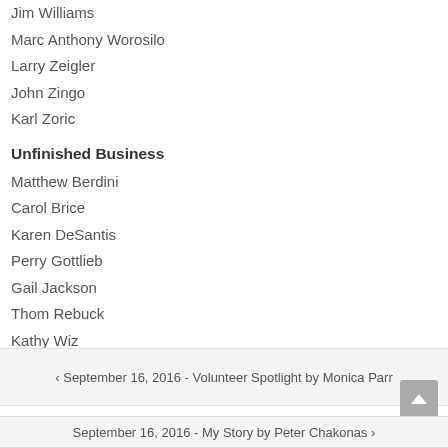Jim Williams
Marc Anthony Worosilo
Larry Zeigler
John Zingo
Karl Zoric
Unfinished Business
Matthew Berdini
Carol Brice
Karen DeSantis
Perry Gottlieb
Gail Jackson
Thom Rebuck
Kathy Wiz
‹ September 16, 2016 - Volunteer Spotlight by Monica Parr
September 16, 2016 - My Story by Peter Chakonas ›